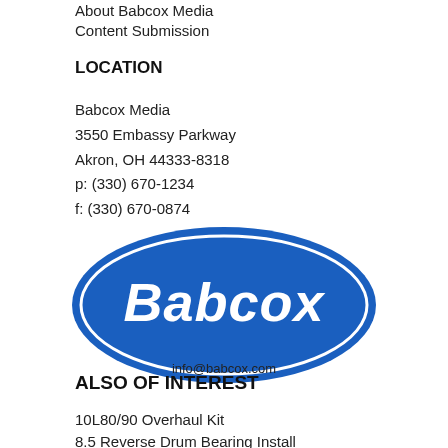About Babcox Media
Content Submission
LOCATION
Babcox Media
3550 Embassy Parkway
Akron, OH 44333-8318
p: (330) 670-1234
f: (330) 670-0874
[Figure (logo): Babcox Media oval blue logo with white italic text 'Babcox' and white inner border, with info@babcox.com below]
ALSO OF INTEREST
10L80/90 Overhaul Kit
8.5 Reverse Drum Bearing Install